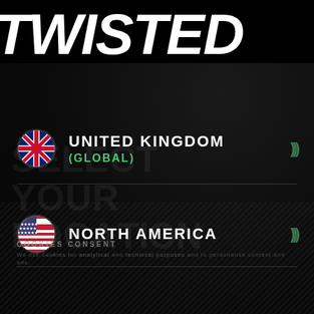TWISTED
SELECT YOUR LOCATION
UNITED KINGDOM (GLOBAL)
NORTH AMERICA
COOKIES CONSENT
We use cookies for analytical and technical purposes and to personalise content and ads.